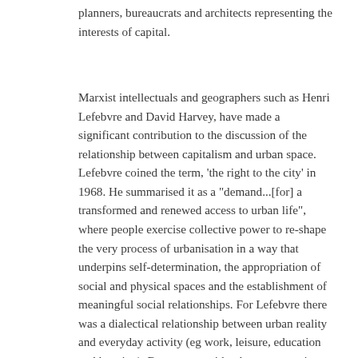planners, bureaucrats and architects representing the interests of capital.
Marxist intellectuals and geographers such as Henri Lefebvre and David Harvey, have made a significant contribution to the discussion of the relationship between capitalism and urban space. Lefebvre coined the term, 'the right to the city' in 1968. He summarised it as a "demand...[for] a transformed and renewed access to urban life", where people exercise collective power to re-shape the very process of urbanisation in a way that underpins self-determination, the appropriation of social and physical spaces and the establishment of meaningful social relationships. For Lefebvre there was a dialectical relationship between urban reality and everyday activity (eg work, leisure, education and housing). By contrast with what are sometimes considered to be rather cold, modernist urban visions represented by architects and urban planners like Le Corbusier, his thinking offers a bottom-up approach based on the lived experiences of individuals which offers some useful pointers for the way forwards.